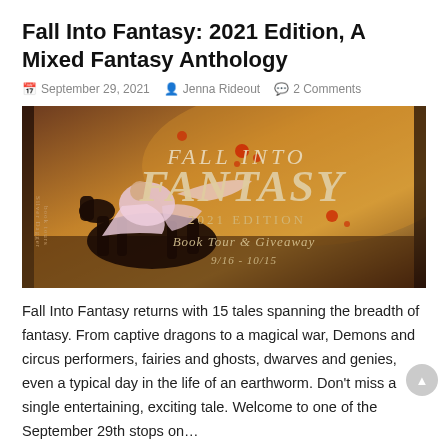Fall Into Fantasy: 2021 Edition, A Mixed Fantasy Anthology
September 29, 2021   Jenna Rideout   2 Comments
[Figure (illustration): Banner image for Fall Into Fantasy 2021 Edition Book Tour & Giveaway (9/16 - 10/15) by Silver Dagger Book Tours, featuring a woman in a pink dress riding a dark horse against a dramatic fantasy background with the text 'FALL INTO FANTASY 2021 EDITION BOOK TOUR & GIVEAWAY 9/16 - 10/15']
Fall Into Fantasy returns with 15 tales spanning the breadth of fantasy. From captive dragons to a magical war, Demons and circus performers, fairies and ghosts, dwarves and genies, even a typical day in the life of an earthworm. Don't miss a single entertaining, exciting tale. Welcome to one of the September 29th stops on…